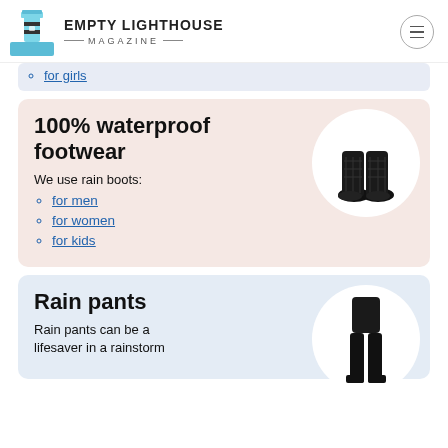EMPTY LIGHTHOUSE MAGAZINE
for girls
100% waterproof footwear
We use rain boots:
for men
for women
for kids
[Figure (photo): Black quilted rain boots on circular white background]
Rain pants
Rain pants can be a lifesaver in a rainstorm
[Figure (photo): Person wearing black rain pants on circular white background]